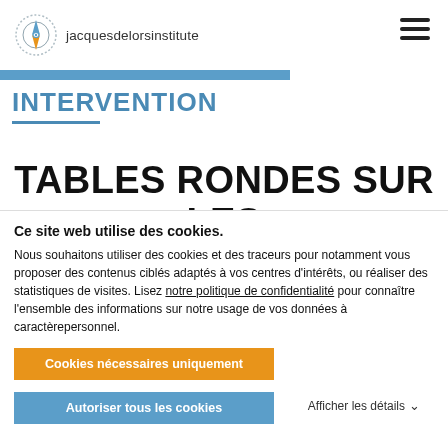jacquesdelorsinstitute
INTERVENTION
TABLES RONDES SUR LES
Ce site web utilise des cookies.
Nous souhaitons utiliser des cookies et des traceurs pour notamment vous proposer des contenus ciblés adaptés à vos centres d'intérêts, ou réaliser des statistiques de visites. Lisez notre politique de confidentialité pour connaître l'ensemble des informations sur notre usage de vos données à caractèrepersonnel.
Cookies nécessaires uniquement
Autoriser tous les cookies
Afficher les détails